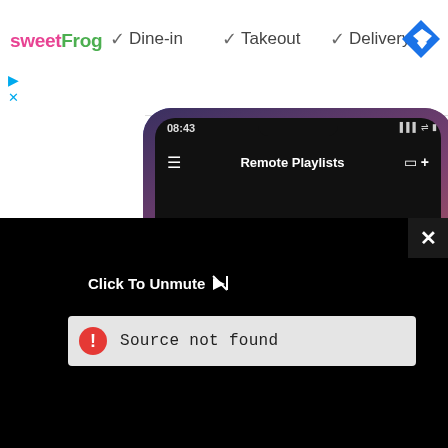[Figure (screenshot): Web browser top bar showing sweetFrog logo and Dine-in, Takeout, Delivery service options with checkmarks, and a Google Maps navigation icon. Below are ad icons (play button, X). A collapse button with up caret is visible. A partial screenshot of a phone showing 'Remote Playlists' app at 08:43. An X close button on the right. A black video player area with 'Click To Unmute' text and muted icon. An error bar reading 'Source not found' with red warning icon.]